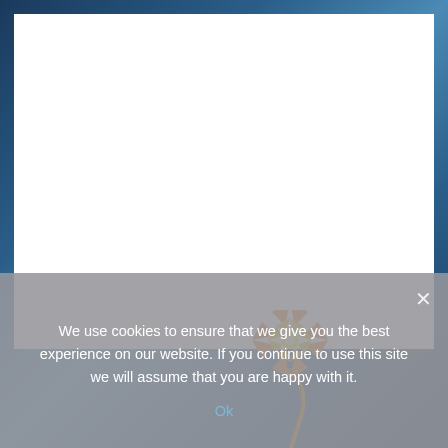[Figure (illustration): A blue/teal blurred background with a large white rectangular area in the upper portion. An illustrated bomb or dynamite character with an orange/yellow starburst explosion spark at the top and a curved fuse, partially visible at the bottom center of the page.]
We use cookies to ensure that we give you the best experience on our website. If you continue to use this site we will assume that you are happy with it.
Ok